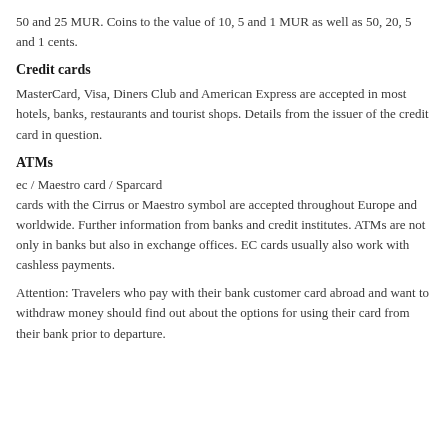50 and 25 MUR. Coins to the value of 10, 5 and 1 MUR as well as 50, 20, 5 and 1 cents.
Credit cards
MasterCard, Visa, Diners Club and American Express are accepted in most hotels, banks, restaurants and tourist shops. Details from the issuer of the credit card in question.
ATMs
ec / Maestro card / Sparcard
cards with the Cirrus or Maestro symbol are accepted throughout Europe and worldwide. Further information from banks and credit institutes. ATMs are not only in banks but also in exchange offices. EC cards usually also work with cashless payments.
Attention: Travelers who pay with their bank customer card abroad and want to withdraw money should find out about the options for using their card from their bank prior to departure.